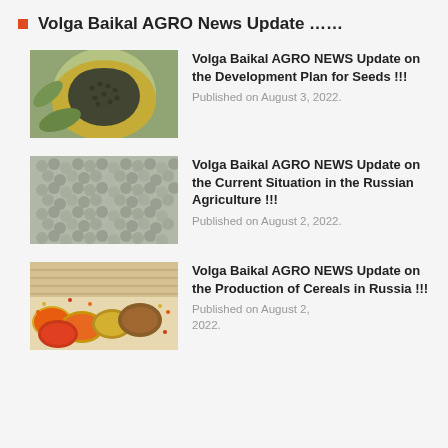Volga Baikal AGRO News Update ……
[Figure (photo): Close-up of a sunflower head with dark seeds]
Volga Baikal AGRO NEWS Update on the Development Plan for Seeds !!!
Published on August 3, 2022.
[Figure (photo): Pile of grey/green lentils or seeds spread out]
Volga Baikal AGRO NEWS Update on the Current Situation in the Russian Agriculture !!!
Published on August 2, 2022.
[Figure (photo): Bowls of various colorful cereals and grains including orange lentils]
Volga Baikal AGRO NEWS Update on the Production of Cereals in Russia !!!
Published on August 2, 2022.